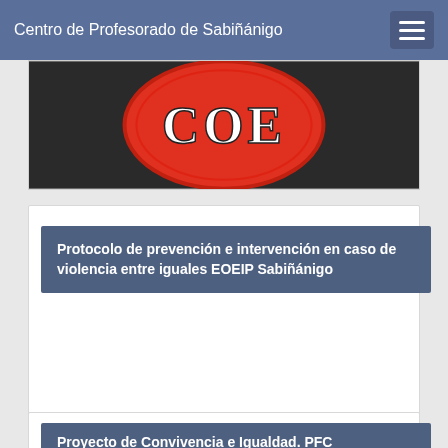Centro de Profesorado de Sabiñánigo
[Figure (photo): Partial red COE badge/ball with ornate letter C, O, E visible against dark background]
Protocolo de prevención e intervención en caso de violencia entre iguales EOEIP Sabiñánigo
Proyecto de Convivencia e Igualdad. PFC